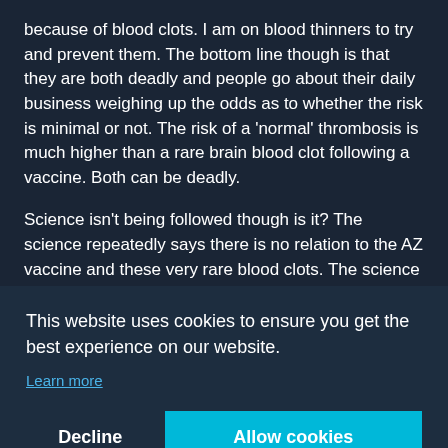because of blood clots. I am on blood thinners to try and prevent them. The bottom line though is that they are both deadly and people go about their daily business weighing up the odds as to whether the risk is minimal or not. The risk of a 'normal' thrombosis is much higher than a rare brain blood clot following a vaccine. Both can be deadly.
Science isn't being followed though is it? The science repeatedly says there is no relation to the AZ vaccine and these very rare blood clots. The science also says you are at far greater risk from catching Covid than you are of getting a [partially hidden]
[partially visible] here [partially visible] One [partially visible] able
This website uses cookies to ensure you get the best experience on our website.
Learn more
Decline
Allow cookies
here in the Great fight are panicking and we're coming out of lockdown. So far the vaccine programme is working